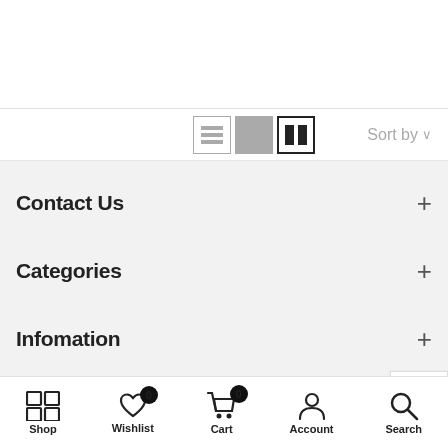[Figure (screenshot): Top white area of a mobile e-commerce page with toolbar showing list/grid view toggle icons and Sort by dropdown]
Contact Us
Categories
Infomation
Newsletter Signup
Shop  Wishlist 0  Cart 0  Account  Search